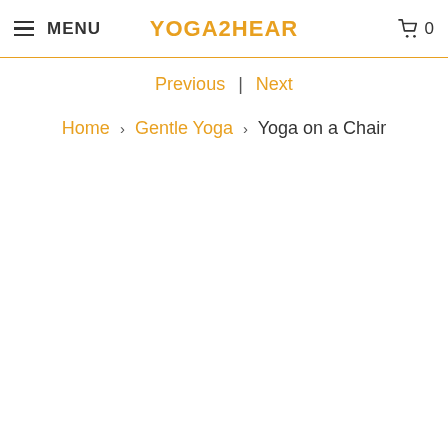MENU | YOGA2HEAR | 0
Previous | Next
Home > Gentle Yoga > Yoga on a Chair